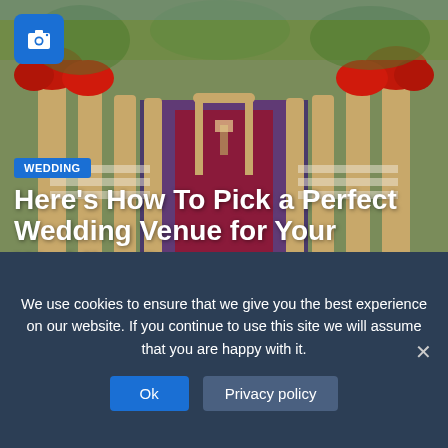[Figure (photo): Wedding venue outdoor aisle with ornate golden columns, red floral arrangements, white chairs, and a red carpet, viewed from the entrance looking inward]
WEDDING
Here’s How To Pick a Perfect Wedding Venue for Your Wedding Day
[Figure (photo): Black and white photo of a bride in white dress at an outdoor wedding ceremony with draped fabric canopy and guests seated]
WEDDING
Where Would Be The Best Place For Your Wedding?
We use cookies to ensure that we give you the best experience on our website. If you continue to use this site we will assume that you are happy with it.